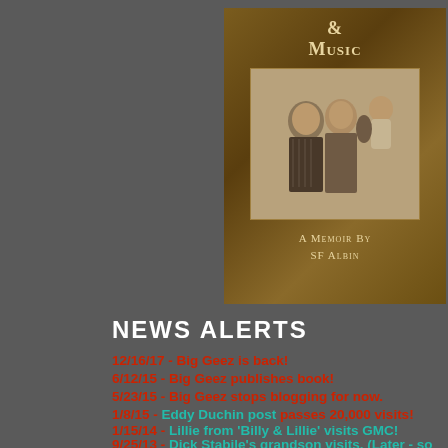[Figure (illustration): Book cover with title '& Music', a sepia family photo showing a man, woman, and baby, and author text 'A Memoir By SF Albin' on a brown background]
NEWS ALERTS
12/16/17 - Big Geez is back!
6/12/15 - Big Geez publishes book!
5/23/15 - Big Geez stops blogging for now.
1/8/15 - Eddy Duchin post passes 20,000 visits!
1/15/14 - Lillie from 'Billy & Lillie' visits GMC!
9/25/13 - Dick Stabile's grandson visits. (Later - so does his niece!)